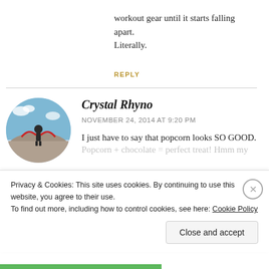workout gear until it starts falling apart. Literally.
REPLY
Crystal Rhyno
NOVEMBER 24, 2014 AT 9:20 PM
I just have to say that popcorn looks SO GOOD.
Popcorn + chocolate = perfect treat! Hmm my
Privacy & Cookies: This site uses cookies. By continuing to use this website, you agree to their use.
To find out more, including how to control cookies, see here: Cookie Policy
Close and accept